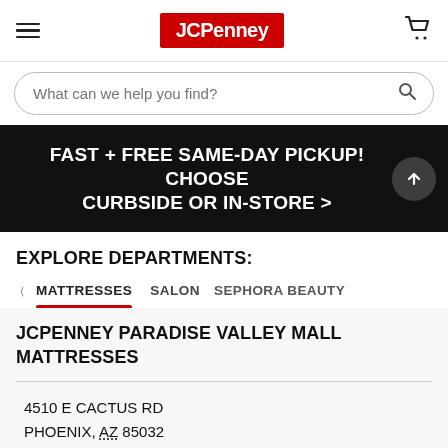[Figure (screenshot): JCPenney website navigation header with hamburger menu, JCPenney red logo, and cart icon]
What can we help you find?
FAST + FREE SAME-DAY PICKUP! CHOOSE CURBSIDE OR IN-STORE >
EXPLORE DEPARTMENTS:
MATTRESSES
SALON
SEPHORA BEAUTY
JCPENNEY PARADISE VALLEY MALL MATTRESSES
4510 E CACTUS RD
PHOENIX, AZ 85032
STORE